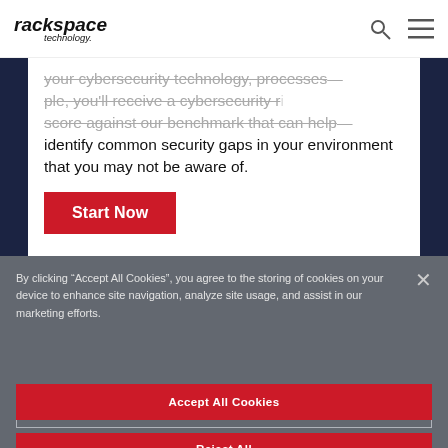[Figure (logo): Rackspace Technology logo with italic bold text and 'technology.' subtitle]
your cybersecurity technology, processes — ple, you'll receive a cybersecurity score against our benchmark that can help — identify common security gaps in your environment that you may not be aware of.
Start Now
By clicking “Accept All Cookies”, you agree to the storing of cookies on your device to enhance site navigation, analyze site usage, and assist in our marketing efforts.
Cookies Settings
Reject All
Accept All Cookies